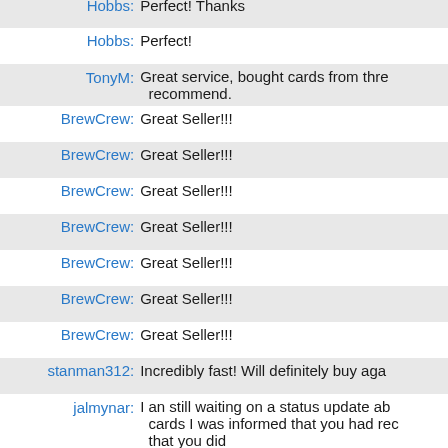Hobbs: Perfect! Thanks
Hobbs: Perfect!
TonyM: Great service, bought cards from three... recommend.
BrewCrew: Great Seller!!!
BrewCrew: Great Seller!!!
BrewCrew: Great Seller!!!
BrewCrew: Great Seller!!!
BrewCrew: Great Seller!!!
BrewCrew: Great Seller!!!
BrewCrew: Great Seller!!!
stanman312: Incredibly fast! Will definitely buy aga...
jalmynar: I an still waiting on a status update ab... cards I was informed that you had rec... that you did
Tourach: everything went fine, thank you
Al_Q: Quick shipment!
PANICS: Pretty good selection. Took a long tim... two weeks!!
Parisdirt: Fast and Easy trans. :)